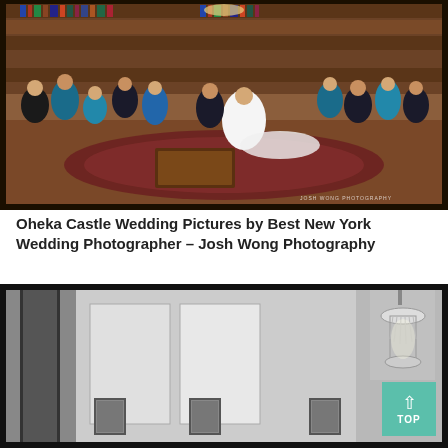[Figure (photo): Wedding party group photo inside a wood-paneled library room with bookshelves, oriental rug, and chandelier. Bridesmaids in teal dresses, groomsmen in tuxedos, bride in white gown. Watermark reads JOSH WONG PHOTOGRAPHY.]
Oheka Castle Wedding Pictures by Best New York Wedding Photographer – Josh Wong Photography
[Figure (photo): Black and white interior hallway photo of Oheka Castle showing corridor with doors, wall panels, and a crystal chandelier. A teal 'TOP' back-to-top button overlays the bottom-right corner.]